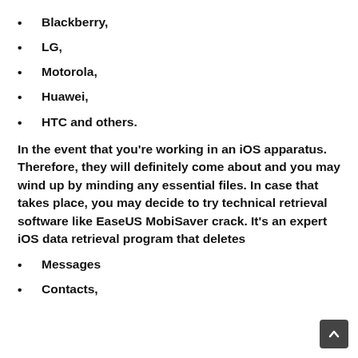Blackberry,
LG,
Motorola,
Huawei,
HTC and others.
In the event that you’re working in an iOS apparatus. Therefore, they will definitely come about and you may wind up by minding any essential files. In case that takes place, you may decide to try technical retrieval software like EaseUS MobiSaver crack. It’s an expert iOS data retrieval program that deletes
Messages
Contacts,